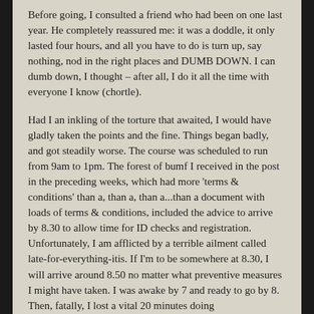Before going, I consulted a friend who had been on one last year. He completely reassured me: it was a doddle, it only lasted four hours, and all you have to do is turn up, say nothing, nod in the right places and DUMB DOWN. I can dumb down, I thought – after all, I do it all the time with everyone I know (chortle).
Had I an inkling of the torture that awaited, I would have gladly taken the points and the fine. Things began badly, and got steadily worse. The course was scheduled to run from 9am to 1pm. The forest of bumf I received in the post in the preceding weeks, which had more 'terms & conditions' than a, than a, than a...than a document with loads of terms & conditions, included the advice to arrive by 8.30 to allow time for ID checks and registration. Unfortunately, I am afflicted by a terrible ailment called late-for-everything-itis. If I'm to be somewhere at 8.30, I will arrive around 8.50 no matter what preventive measures I might have taken. I was awake by 7 and ready to go by 8. Then, fatally, I lost a vital 20 minutes doing